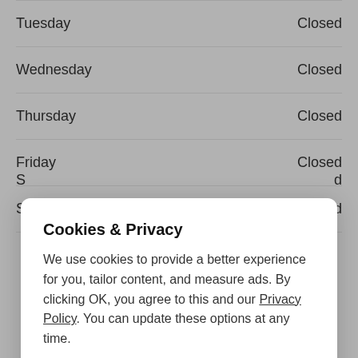Tuesday — Closed
Wednesday — Closed
Thursday — Closed
Friday — Closed
Saturday — Closed
S... — ...d (partially visible, obscured by modal)
Cookies & Privacy

We use cookies to provide a better experience for you, tailor content, and measure ads. By clicking OK, you agree to this and our Privacy Policy. You can update these options at any time.

[Cookie Preferences] [OK]